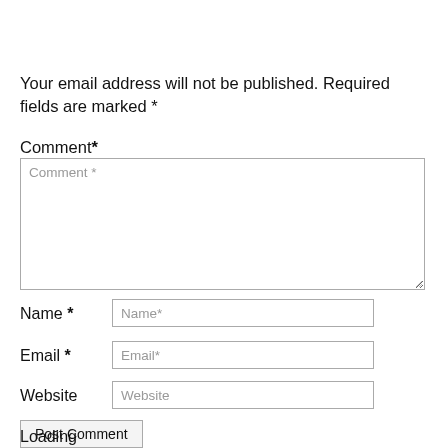Your email address will not be published. Required fields are marked *
Comment *
[Figure (screenshot): Comment textarea input field with placeholder text 'Comment *']
Name *
[Figure (screenshot): Name text input field with placeholder 'Name*']
Email *
[Figure (screenshot): Email text input field with placeholder 'Email*']
Website
[Figure (screenshot): Website text input field with placeholder 'Website']
Post Comment
Loading